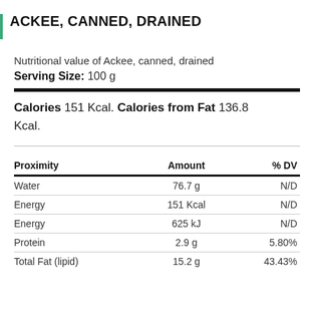ACKEE, CANNED, DRAINED
Nutritional value of Ackee, canned, drained
Serving Size: 100 g
Calories 151 Kcal. Calories from Fat 136.8 Kcal.
| Proximity | Amount | % DV |
| --- | --- | --- |
| Water | 76.7 g | N/D |
| Energy | 151 Kcal | N/D |
| Energy | 625 kJ | N/D |
| Protein | 2.9 g | 5.80% |
| Total Fat (lipid) | 15.2 g | 43.43% |